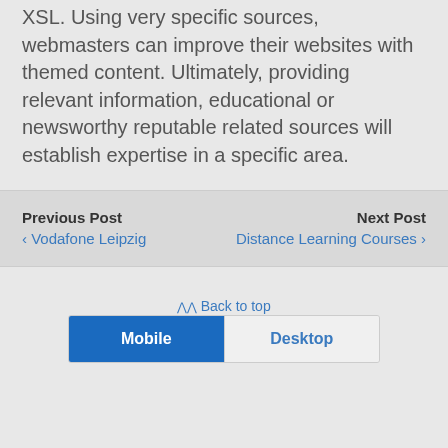XSL. Using very specific sources, webmasters can improve their websites with themed content. Ultimately, providing relevant information, educational or newsworthy reputable related sources will establish expertise in a specific area.
Previous Post
‹ Vodafone Leipzig
Next Post
Distance Learning Courses ›
⋀ Back to top
Mobile | Desktop